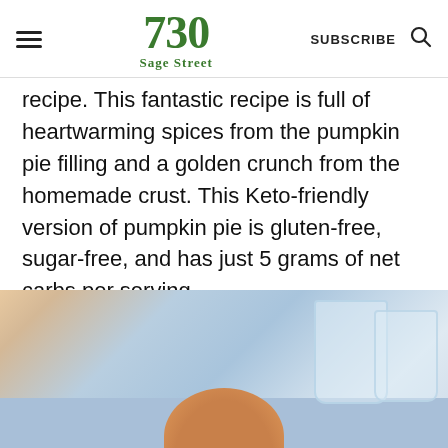730 Sage Street | SUBSCRIBE
recipe. This fantastic recipe is full of heartwarming spices from the pumpkin pie filling and a golden crunch from the homemade crust. This Keto-friendly version of pumpkin pie is gluten-free, sugar-free, and has just 5 grams of net carbs per serving.
[Figure (photo): Photo of a pumpkin pie slice on a blue cloth/plate background with glass bowls or cups visible in the background]